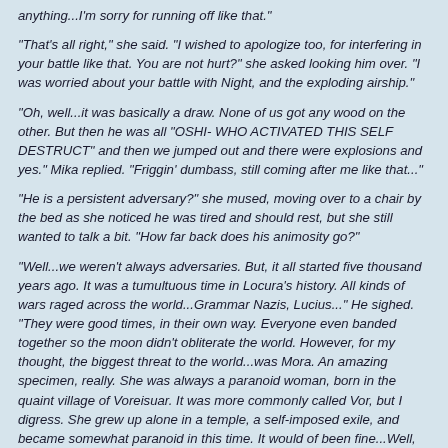anything...I'm sorry for running off like that."
"That's all right," she said. "I wished to apologize too, for interfering in your battle like that. You are not hurt?" she asked looking him over. "I was worried about your battle with Night, and the exploding airship."
"Oh, well...it was basically a draw. None of us got any wood on the other. But then he was all "OSHI- WHO ACTIVATED THIS SELF DESTRUCT" and then we jumped out and there were explosions and yes." Mika replied. "Friggin' dumbass, still coming after me like that..."
"He is a persistent adversary?" she mused, moving over to a chair by the bed as she noticed he was tired and should rest, but she still wanted to talk a bit. "How far back does his animosity go?"
"Well...we weren't always adversaries. But, it all started five thousand years ago. It was a tumultuous time in Locura's history. All kinds of wars raged across the world...Grammar Nazis, Lucius..." He sighed. "They were good times, in their own way. Everyone even banded together so the moon didn't obliterate the world. However, for my thought, the biggest threat to the world...was Mora. An amazing specimen, really. She was always a paranoid woman, born in the quaint village of Voreisuar. It was more commonly called Vor, but I digress. She grew up alone in a temple, a self-imposed exile, and became somewhat paranoid in this time. It would of been fine...Well, except that she began spreading it. I'm still not